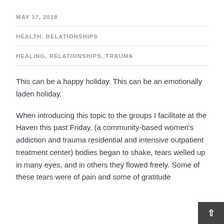MAY 17, 2018
HEALTH, RELATIONSHIPS
HEALING, RELATIONSHIPS, TRAUMA
This can be a happy holiday. This can be an emotionally laden holiday.
When introducing this topic to the groups I facilitate at the Haven this past Friday, (a community-based women's addiction and trauma residential and intensive outpatient treatment center) bodies began to shake, tears welled up in many eyes, and in others they flowed freely. Some of these tears were of pain and some of gratitude